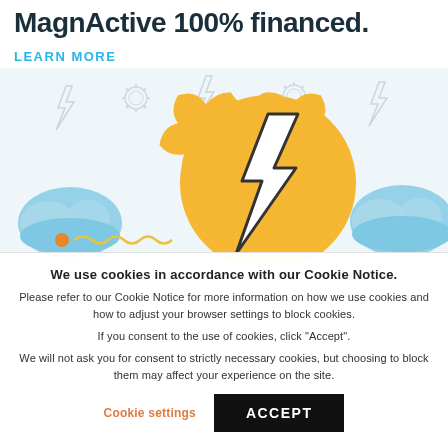MagnActive 100% financed.
LEARN MORE
[Figure (illustration): Decorative illustration showing lightning bolt icons, sun/gear icons, and cloud icons in light gray, with a large golden/yellow scalloped badge in the center featuring a white lightning bolt. Blue cloud shapes on left and right edges. Small orange dot and wavy line at bottom left.]
We use cookies in accordance with our Cookie Notice.
Please refer to our Cookie Notice for more information on how we use cookies and how to adjust your browser settings to block cookies.
If you consent to the use of cookies, click "Accept".
We will not ask you for consent to strictly necessary cookies, but choosing to block them may affect your experience on the site.
Cookie settings
ACCEPT